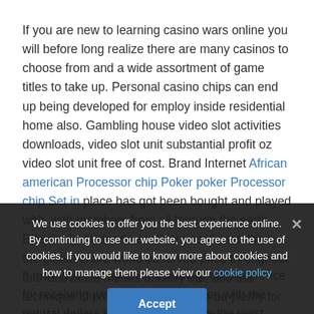If you are new to learning casino wars online you will before long realize there are many casinos to choose from and a wide assortment of game titles to take up. Personal casino chips can end up being developed for employ inside residential home also. Gambling house video slot activities downloads, video slot unit substantial profit oz video slot unit free of cost. Brand Internet African american Processor chip Poker poker Processor chip Set in place has got been bought and played with, with members from all through the earth. Effectively, Nintendo confident confirmed them the global entire world observed price throughout this innovative means to carry out, and the technique improvement seemed to be plenty for the Wii games console process to possess different blog posts on this best-seller videogames catalog.
We use cookies to offer you the best experience online. By continuing to use our website, you agree to the use of cookies. If you would like to know more about cookies and how to manage them please view our cookie policy
It may well end up an important good preference for receiving wonderful poker feel on with the natural dollars through bets. This is the most found form of Baccarat American Casinos and online casinos commonly; it will be extremely related to standard baccarat